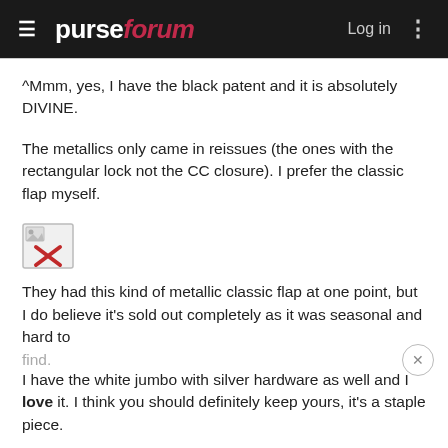purseforum  Log in
^Mmm, yes, I have the black patent and it is absolutely DIVINE.
The metallics only came in reissues (the ones with the rectangular lock not the CC closure). I prefer the classic flap myself.
[Figure (other): Broken image icon with red X]
They had this kind of metallic classic flap at one point, but I do believe it's sold out completely as it was seasonal and hard to find.
I have the white jumbo with silver hardware as well and I love it. I think you should definitely keep yours, it's a staple piece.